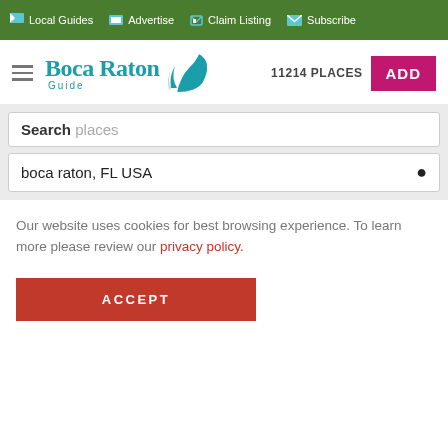Local Guides  Advertise  Claim Listing  Subscribe
[Figure (logo): Boca Raton Guide logo with teal leaf icon]
11214 PLACES
ADD
Search places
boca raton, FL USA
Our website uses cookies for best browsing experience. To learn more please review our privacy policy.
ACCEPT